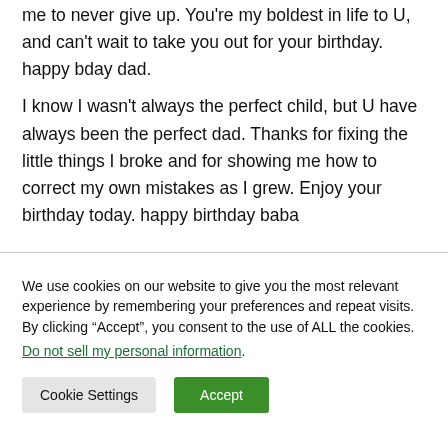me to never give up. You're my boldest in life to U, and can't wait to take you out for your birthday. happy bday dad.
I know I wasn't always the perfect child, but U have always been the perfect dad. Thanks for fixing the little things I broke and for showing me how to correct my own mistakes as I grew. Enjoy your birthday today. happy birthday baba
We use cookies on our website to give you the most relevant experience by remembering your preferences and repeat visits. By clicking “Accept”, you consent to the use of ALL the cookies.
Do not sell my personal information.